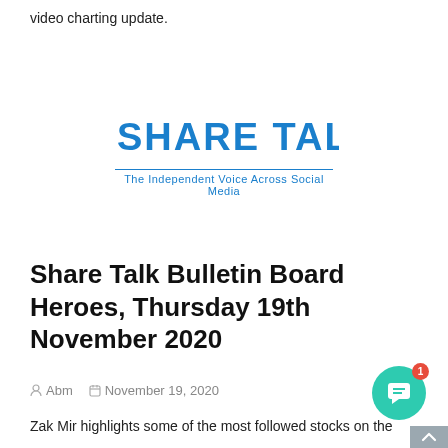video charting update.
[Figure (logo): Share Talk logo with tagline 'The Independent Voice Across Social Media']
Share Talk Bulletin Board Heroes, Thursday 19th November 2020
Abm  November 19, 2020
Zak Mir highlights some of the most followed stocks on the